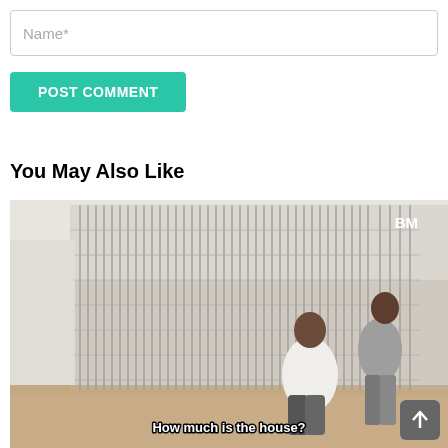Name*
POST COMMENT
You May Also Like
[Figure (screenshot): Video thumbnail showing two men in what appears to be a building with metal grating/caging. The letter 'BM' appears in the top right corner. A subtitle at the bottom reads 'How much is the house?' A scroll-to-top button appears in the bottom right corner.]